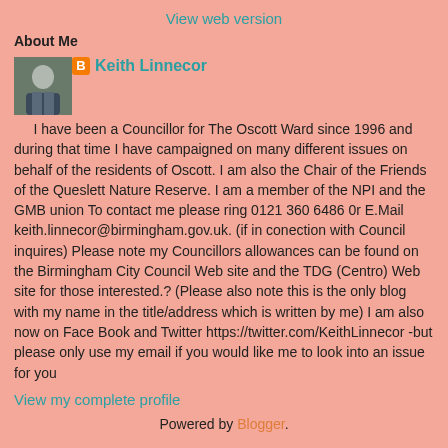View web version
About Me
[Figure (photo): Profile photo of Keith Linnecor, a man in a suit]
Keith Linnecor
I have been a Councillor for The Oscott Ward since 1996 and during that time I have campaigned on many different issues on behalf of the residents of Oscott. I am also the Chair of the Friends of the Queslett Nature Reserve. I am a member of the NPI and the GMB union To contact me please ring 0121 360 6486 0r E.Mail keith.linnecor@birmingham.gov.uk. (if in conection with Council inquires) Please note my Councillors allowances can be found on the Birmingham City Council Web site and the TDG (Centro) Web site for those interested.? (Please also note this is the only blog with my name in the title/address which is written by me) I am also now on Face Book and Twitter https://twitter.com/KeithLinnecor -but please only use my email if you would like me to look into an issue for you
View my complete profile
Powered by Blogger.